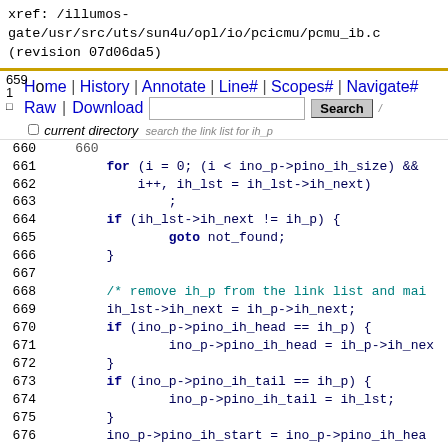xref: /illumos-gate/usr/src/uts/sun4u/opl/io/pcicmu/pcmu_ib.c (revision 07d06da5)
[Figure (screenshot): Navigation bar with Home, History, Annotate, Line#, Scopes#, Navigate#, Raw, Download links and a search box]
Source code viewer showing lines 661-682 of pcmu_ib.c with C code including for loop, if statements, goto not_found, comment about removing ih_p from link list, pointer assignments, and kmem_free call